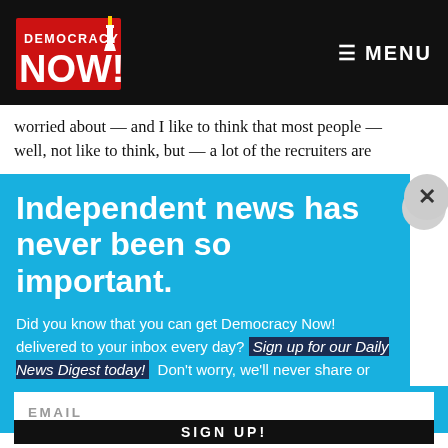[Figure (logo): Democracy Now! logo — red and white torch/figure icon with 'DEMOCRACY NOW!' text in red]
≡ MENU
worried about — and I like to think that most people — well, not like to think, but — a lot of the recruiters are
Independent news has never been so important.
Did you know that you can get Democracy Now! delivered to your inbox every day? Sign up for our Daily News Digest today! Don't worry, we'll never share or sell your information.
EMAIL
SIGN UP!